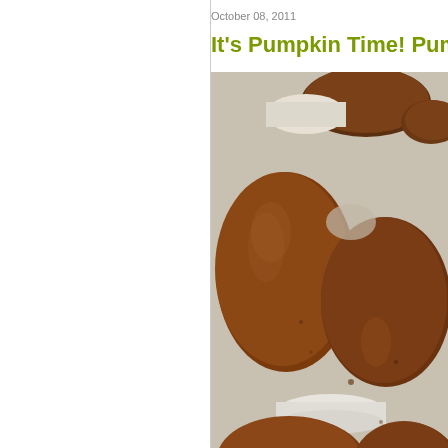October 08, 2011
It's Pumpkin Time! Pum...
[Figure (photo): Close-up photo of pumpkin whoopie pies or sandwich cookies with white cream filling, dark brown spiced cookie layers, on a white surface.]